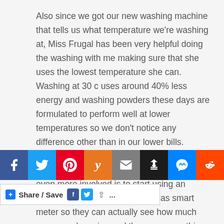Also since we got our new washing machine that tells us what temperature we're washing at, Miss Frugal has been very helpful doing the washing with me making sure that she uses the lowest temperature she can.  Washing at 30 c uses around 40% less energy and washing powders these days are formulated to perform well at lower temperatures so we don't notice any difference other than in our lower bills.
I think the next step in getting the children even more involved is to start using an energy monitor like the British Gas smart meter so they can actually see how much energy we're using and then see something real to show that we can
[Figure (other): Social media share icons bar: Facebook (blue), Twitter (light blue), Pinterest (red), Yummly (orange), Email (gray), Buffer (black), Messenger (blue), Reddit (orange-red)]
[Figure (other): Share/Save button bar with Facebook and Twitter mini icons and share arrow and ellipsis]